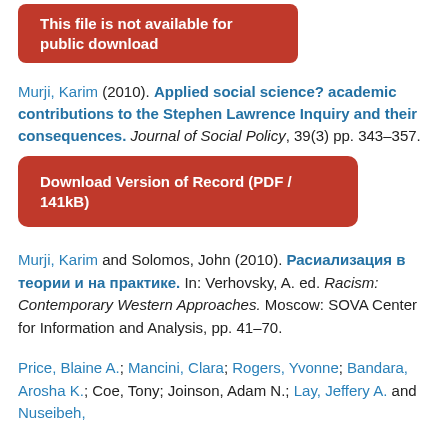[Figure (other): Orange/red rounded rectangle button with white bold text: 'This file is not available for public download']
Murji, Karim (2010). Applied social science? academic contributions to the Stephen Lawrence Inquiry and their consequences. Journal of Social Policy, 39(3) pp. 343–357.
[Figure (other): Orange/red rounded rectangle button with white bold text: 'Download Version of Record (PDF / 141kB)']
Murji, Karim and Solomos, John (2010). Расиализация в теории и на практике. In: Verhovsky, A. ed. Racism: Contemporary Western Approaches. Moscow: SOVA Center for Information and Analysis, pp. 41–70.
Price, Blaine A.; Mancini, Clara; Rogers, Yvonne; Bandara, Arosha K.; Coe, Tony; Joinson, Adam N.; Lay, Jeffery A. and Nuseibeh,